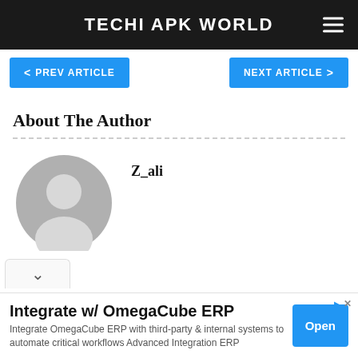TECHI APK WORLD
< PREV ARTICLE
NEXT ARTICLE >
About The Author
Z_ali
[Figure (illustration): Gray default avatar/profile image placeholder showing a silhouette of a person]
Integrate w/ OmegaCube ERP
Integrate OmegaCube ERP with third-party & internal systems to automate critical workflows Advanced Integration ERP
Open